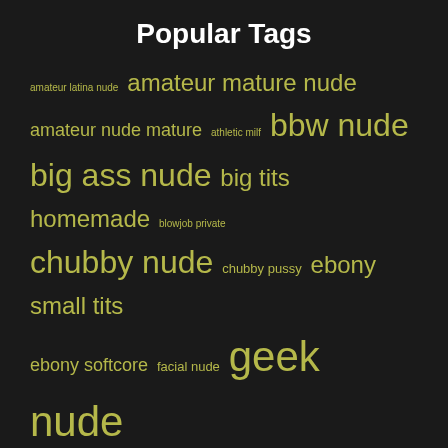Popular Tags
[Figure (infographic): Tag cloud showing popular tags in various font sizes indicating frequency. Tags include: amateur latina nude, amateur mature nude, amateur nude mature, athletic milf, bbw nude, big ass nude, big tits homemade, blowjob private, chubby nude, chubby pussy, ebony small tits, ebony softcore, facial nude, geek nude, granny nude, homemade nude, housewife nude, huge tits homemade, indian amateur nude, indian big tits, indian softcore, latina nude, mature amateur nude, mature nude, mature nude amateur, milf self, milf self shot, nude amateur mature, nude bbw, nude big ass, nude chubby, nude cumshot, nude facial]